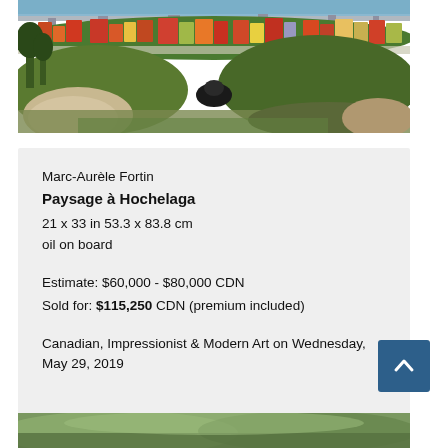[Figure (photo): Painting by Marc-Aurèle Fortin showing a colourful urban landscape of Hochelaga with red, yellow and orange buildings on rolling hills, trees in the foreground, and a viaduct/bridge in the background.]
Marc-Aurèle Fortin
Paysage à Hochelaga
21 x 33 in 53.3 x 83.8 cm
oil on board

Estimate: $60,000 - $80,000 CDN
Sold for: $115,250 CDN (premium included)

Canadian, Impressionist & Modern Art on Wednesday, May 29, 2019
[Figure (photo): Bottom portion of another painting, partially visible — appears to be a landscape with green and teal tones.]